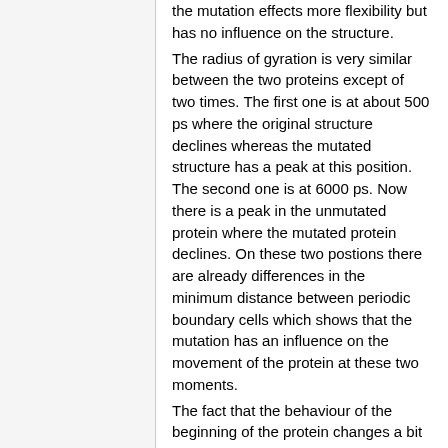the mutation effects more flexibility but has no influence on the structure. The radius of gyration is very similar between the two proteins except of two times. The first one is at about 500 ps where the original structure declines whereas the mutated structure has a peak at this position. The second one is at 6000 ps. Now there is a peak in the unmutated protein where the mutated protein declines. On these two postions there are already differences in the minimum distance between periodic boundary cells which shows that the mutation has an influence on the movement of the protein at these two moments. The fact that the behaviour of the beginning of the protein changes a bit because of the mutation can also be seen by the average sas per residue and per atom. In both cases the accessibility of the beginning of the protein for solvents is much higher in the unmutated protein than in the mutated one. Additional to the sas we can compare the hydrogen bonds between the two proteins. By